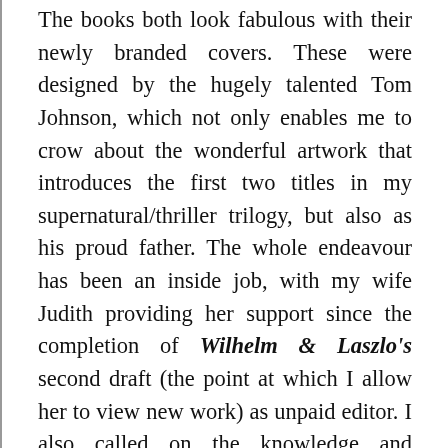The books both look fabulous with their newly branded covers. These were designed by the hugely talented Tom Johnson, which not only enables me to crow about the wonderful artwork that introduces the first two titles in my supernatural/thriller trilogy, but also as his proud father. The whole endeavour has been an inside job, with my wife Judith providing her support since the completion of Wilhelm & Laszlo's second draft (the point at which I allow her to view new work) as unpaid editor. I also called on the knowledge and expertise of a number of friends for help. I must choose my friends wisely, because everyone approached not only said yes immediately, but never once complained about the task (least not to me!). Some of these good people must have spent hours at work on the book's